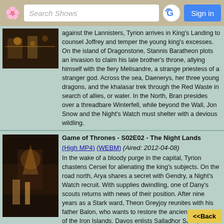Search Shows | Sign in
against the Lannisters, Tyrion arrives in King's Landing to counsel Joffrey and temper the young king's excesses. On the island of Dragonstone, Stannis Baratheon plots an invasion to claim his late brother's throne, allying himself with the fiery Melisandre, a strange priestess of a stranger god. Across the sea, Daenerys, her three young dragons, and the khalasar trek through the Red Waste in search of allies, or water. In the North, Bran presides over a threadbare Winterfell, while beyond the Wall, Jon Snow and the Night's Watch must shelter with a devious wildling.
Game of Thrones - S02E02 - The Night Lands (High MP4) (WEBM) (Aired: 2012-04-08) In the wake of a bloody purge in the capital, Tyrion chastens Cersei for alienating the king's subjects. On the road north, Arya shares a secret with Gendry, a Night's Watch recruit. With supplies dwindling, one of Dany's scouts returns with news of their position. After nine years as a Stark ward, Theon Greyjoy reunites with his father Balon, who wants to restore the ancient Kingdom of the Iron Islands. Davos enlists Salladhor Saan, a pirate, to join forces with Stannis and Melisandre for a naval invasion of King's Landing.